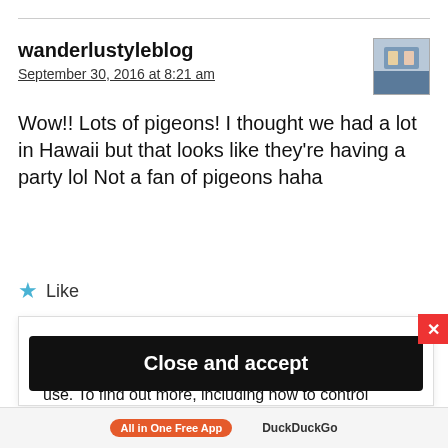wanderlustyleblog
September 30, 2016 at 8:21 am
Wow!! Lots of pigeons! I thought we had a lot in Hawaii but that looks like they're having a party lol Not a fan of pigeons haha
★ Like
Privacy & Cookies: This site uses cookies. By continuing to use this website, you agree to their use. To find out more, including how to control cookies, see here: Cookie Policy
Close and accept